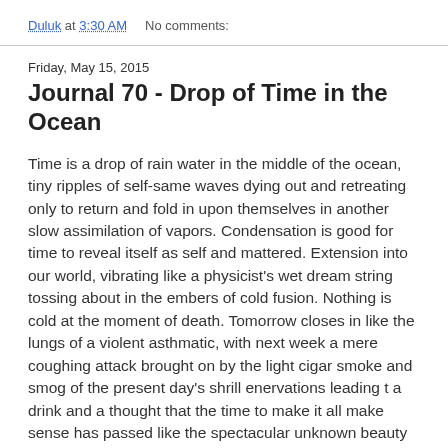Duluk at 3:30 AM    No comments:
Friday, May 15, 2015
Journal 70 - Drop of Time in the Ocean
Time is a drop of rain water in the middle of the ocean, tiny ripples of self-same waves dying out and retreating only to return and fold in upon themselves in another slow assimilation of vapors. Condensation is good for time to reveal itself as self and mattered. Extension into our world, vibrating like a physicist's wet dream string tossing about in the embers of cold fusion. Nothing is cold at the moment of death. Tomorrow closes in like the lungs of a violent asthmatic, with next week a mere coughing attack brought on by the light cigar smoke and smog of the present day's shrill enervations leading t a drink and a thought that the time to make it all make sense has passed like the spectacular unknown beauty of the northern lights or the humpback whale. TV is another leveller and